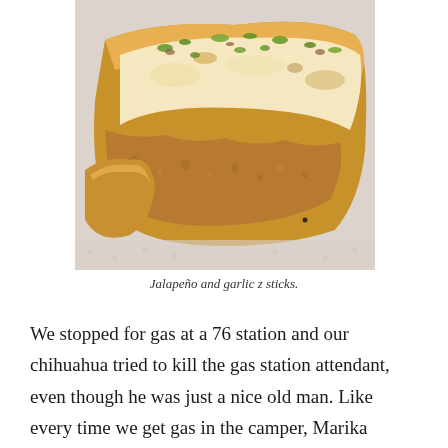[Figure (photo): A close-up photo of jalapeño and garlic bread sticks (z sticks) on a paper towel. The bread is topped with melted white cheese and green jalapeño pieces, with a golden-brown crust visible.]
Jalapeño and garlic z sticks.
We stopped for gas at a 76 station and our chihuahua tried to kill the gas station attendant, even though he was just a nice old man. Like every time we get gas in the camper, Marika wrapped his little dog body up like a pig in a blanket, just his brown head sticking out one side and his tail out the back. I got out to talk to the old